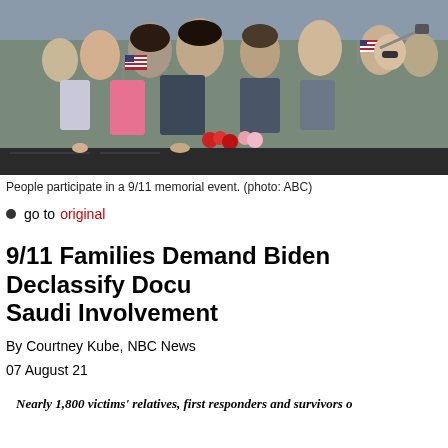[Figure (photo): People participating in a 9/11 memorial event, crowd with American flags and flowers at a memorial wall]
People participate in a 9/11 memorial event. (photo: ABC)
go to original
9/11 Families Demand Biden Declassify Documents on Saudi Involvement
By Courtney Kube, NBC News
07 August 21
Nearly 1,800 victims' relatives, first responders and survivors of